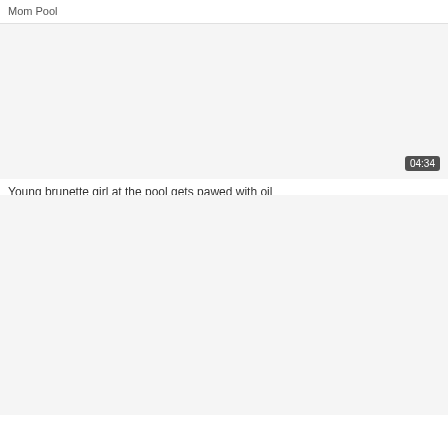Mom Pool
[Figure (photo): Video thumbnail placeholder — light gray rectangle with duration badge showing 04:34 in bottom-right corner]
Young brunette girl at the pool gets pawed with oil
[Figure (photo): Video thumbnail placeholder — light gray rectangle, no duration badge visible]